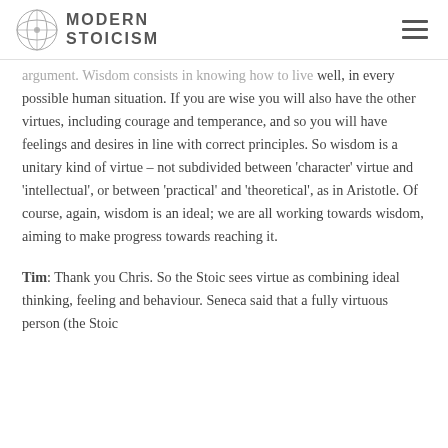MODERN STOICISM
argument. Wisdom consists in knowing how to live well, in every possible human situation. If you are wise you will also have the other virtues, including courage and temperance, and so you will have feelings and desires in line with correct principles. So wisdom is a unitary kind of virtue – not subdivided between 'character' virtue and 'intellectual', or between 'practical' and 'theoretical', as in Aristotle. Of course, again, wisdom is an ideal; we are all working towards wisdom, aiming to make progress towards reaching it.
Tim: Thank you Chris. So the Stoic sees virtue as combining ideal thinking, feeling and behaviour. Seneca said that a fully virtuous person (the Stoic